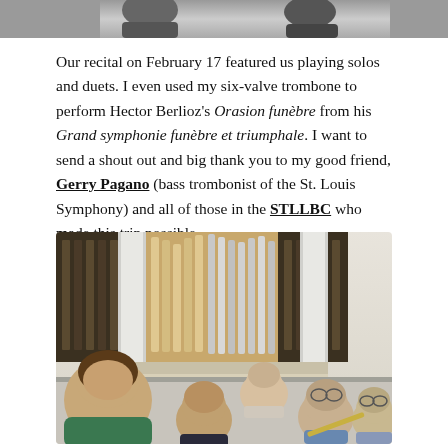[Figure (photo): Top partial black and white photo showing two people, cropped at the top of the page]
Our recital on February 17 featured us playing solos and duets. I even used my six-valve trombone to perform Hector Berlioz's Orasion funèbre from his Grand symphonie funèbre et triumphale. I want to send a shout out and big thank you to my good friend, Gerry Pagano (bass trombonist of the St. Louis Symphony) and all of those in the STLLBC who made this trip possible.
[Figure (photo): Group selfie photo of five men in front of a large pipe organ in what appears to be a concert hall or church]